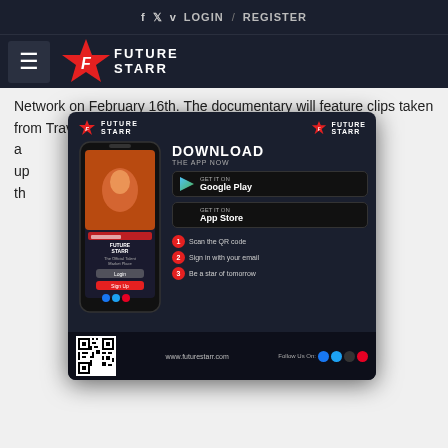f  v  LOGIN / REGISTER
[Figure (logo): Future Starr logo with hamburger menu icon on dark navy background]
Network on February 16th. The documentary will feature clips taken from Travis filmed just months before suffering a know his own life would end up entary, it has become one of the country music history.
[Figure (infographic): Future Starr app download popup advertisement with phone mockup, Google Play and App Store buttons, QR code, and download instructions]
Following the sign in 1985, Travis' career rose swiftly vis was invited to perform at the Grand Ole Opry. The album he released in 1987 Always and Forever won the Country Music Association Male Vocalist of the Year Award and brought Travis several Grammy Awards. The duo also included Tammy Wynette, George Jones and George Jones on his next three albums. Travis was ranked number 1 on the charts for country music due to his album selling over five million copies.